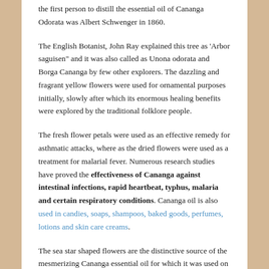the first person to distill the essential oil of Cananga Odorata was Albert Schwenger in 1860.
The English Botanist, John Ray explained this tree as 'Arbor saguisen" and it was also called as Unona odorata and Borga Cananga by few other explorers. The dazzling and fragrant yellow flowers were used for ornamental purposes initially, slowly after which its enormous healing benefits were explored by the traditional folklore people.
The fresh flower petals were used as an effective remedy for asthmatic attacks, where as the dried flowers were used as a treatment for malarial fever. Numerous research studies have proved the effectiveness of Cananga against intestinal infections, rapid heartbeat, typhus, malaria and certain respiratory conditions. Cananga oil is also used in candies, soaps, shampoos, baked goods, perfumes, lotions and skin care creams.
The sea star shaped flowers are the distinctive source of the mesmerizing Cananga essential oil for which it was used on hair for decoration and was scattered on the beds